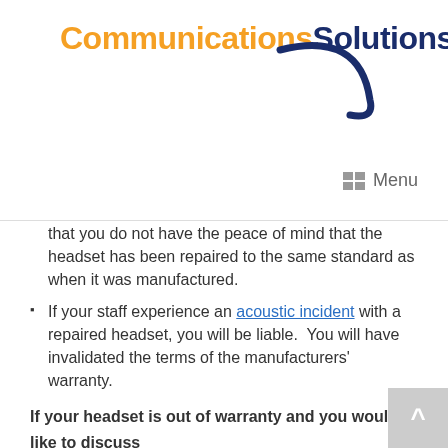[Figure (logo): CommunicationsSolutionsUK logo with orange 'Communications', dark blue 'SolutionsUK' text and a dark blue swoosh arc graphic]
Menu
that you do not have the peace of mind that the headset has been repaired to the same standard as when it was manufactured.
If your staff experience an acoustic incident with a repaired headset, you will be liable.  You will have invalidated the terms of the manufacturers' warranty.
If your headset is out of warranty and you would like to discuss your options, call us now on 0118 920 9420 or email us at info@com-solutions.co.uk
[/mp_span]